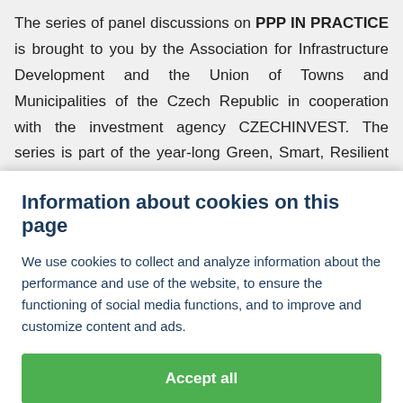The series of panel discussions on PPP IN PRACTICE is brought to you by the Association for Infrastructure Development and the Union of Towns and Municipalities of the Czech Republic in cooperation with the investment agency CZECHINVEST. The series is part of the year-long Green, Smart, Resilient and Inclusive Cities for 2021 series...
Information about cookies on this page
We use cookies to collect and analyze information about the performance and use of the website, to ensure the functioning of social media functions, and to improve and customize content and ads.
Accept all
Cookie settings